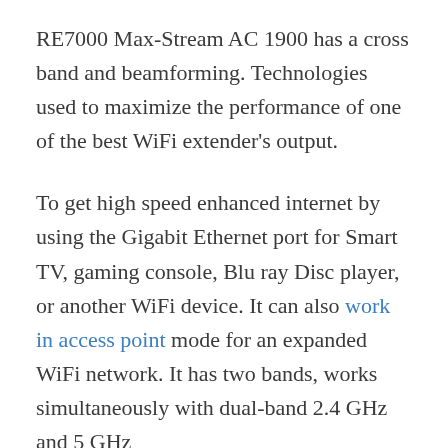RE7000 Max-Stream AC 1900 has a cross band and beamforming. Technologies used to maximize the performance of one of the best WiFi extender's output.
To get high speed enhanced internet by using the Gigabit Ethernet port for Smart TV, gaming console, Blu ray Disc player, or another WiFi device. It can also work in access point mode for an expanded WiFi network. It has two bands, works simultaneously with dual-band 2.4 GHz and 5 GHz